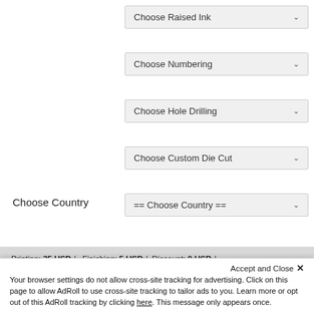Choose Raised Ink
Choose Numbering
Choose Hole Drilling
Choose Custom Die Cut
Choose Country
== Choose Country ==
Printing: 35 USD /   Finishing: 5 USD /   Discount: 0 USD /
Accept and Close ✕
Your browser settings do not allow cross-site tracking for advertising. Click on this page to allow AdRoll to use cross-site tracking to tailor ads to you. Learn more or opt out of this AdRoll tracking by clicking here. This message only appears once.